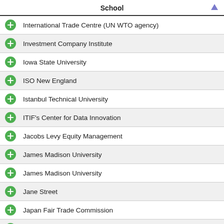School
International Trade Centre (UN WTO agency)
Investment Company Institute
Iowa State University
ISO New England
Istanbul Technical University
ITIF's Center for Data Innovation
Jacobs Levy Equity Management
James Madison University
James Madison University
Jane Street
Japan Fair Trade Commission
Jinan University
Jinan University
John Jay College, CUNY